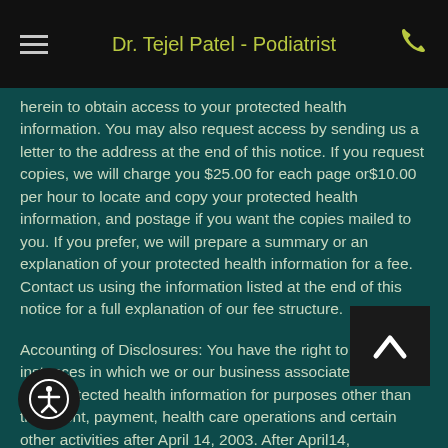Dr. Tejel Patel - Podiatrist
herein to obtain access to your protected health information. You may also request access by sending us a letter to the address at the end of this notice. If you request copies, we will charge you $25.00 for each page or$10.00 per hour to locate and copy your protected health information, and postage if you want the copies mailed to you. If you prefer, we will prepare a summary or an explanation of your protected health information for a fee. Contact us using the information listed at the end of this notice for a full explanation of our fee structure.
Accounting of Disclosures: You have the right to a list of instances in which we or our business associates disclosed your protected health information for purposes other than treatment, payment, health care operations and certain other activities after April 14, 2003. After April14,